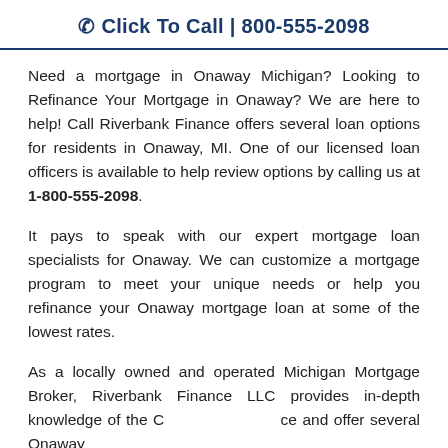☎ Click To Call | 800-555-2098
Need a mortgage in Onaway Michigan? Looking to Refinance Your Mortgage in Onaway? We are here to help! Call Riverbank Finance offers several loan options for residents in Onaway, MI. One of our licensed loan officers is available to help review options by calling us at 1-800-555-2098.
It pays to speak with our expert mortgage loan specialists for Onaway. We can customize a mortgage program to meet your unique needs or help you refinance your Onaway mortgage loan at some of the lowest rates.
As a locally owned and operated Michigan Mortgage Broker, Riverbank Finance LLC provides in-depth knowledge of the C[...] ce and offer several Onaway [...] commitment to serving our [...] ver market insights, expertise, low [...] highest level of customer service [...]
[Figure (other): Google Rating card showing 4.9 stars based on 658 Reviews, with the Google G logo in multicolor.]